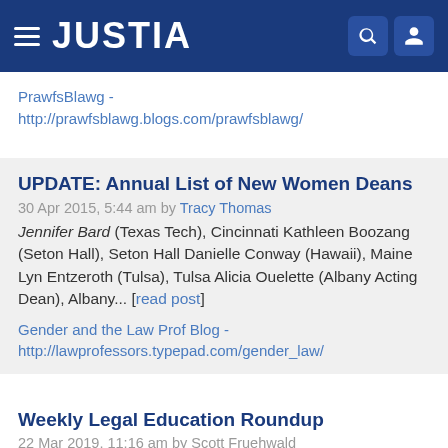JUSTIA
PrawfsBlawg - http://prawfsblawg.blogs.com/prawfsblawg/
UPDATE: Annual List of New Women Deans
30 Apr 2015, 5:44 am by Tracy Thomas
Jennifer Bard (Texas Tech), Cincinnati Kathleen Boozang (Seton Hall), Seton Hall Danielle Conway (Hawaii), Maine Lyn Entzeroth (Tulsa), Tulsa Alicia Ouelette (Albany Acting Dean), Albany... [read post]
Gender and the Law Prof Blog - http://lawprofessors.typepad.com/gender_law/
Weekly Legal Education Roundup
22 Mar 2019, 11:16 am by Scott Fruehwald